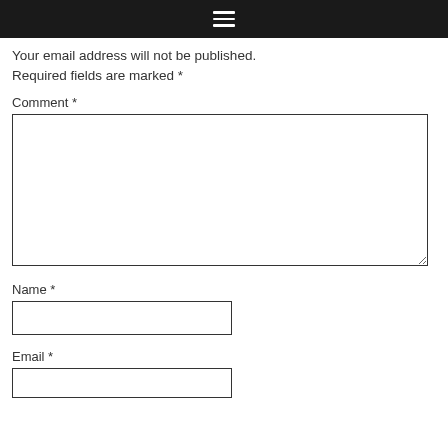☰
Your email address will not be published. Required fields are marked *
Comment *
[Figure (other): Empty comment textarea input field]
Name *
[Figure (other): Empty name text input field]
Email *
[Figure (other): Empty email text input field (partially visible)]